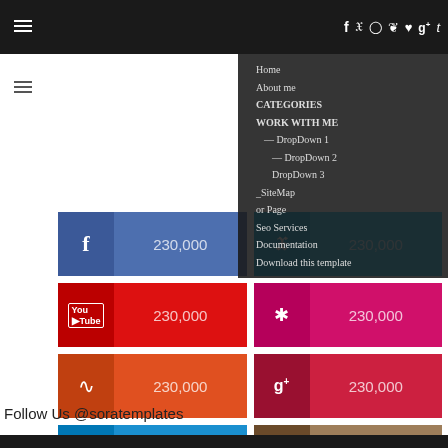Navigation bar with social icons: f t (instagram) (pinterest) (heart) g+ t
Home
About me
CATEGORIES
WORK WITH ME
_ DropDown 1
__ DropDown 2
DropDown 3
SiteMap
or Page
Seo Services
Documentation
Download this template
[Figure (infographic): Social media follower count widgets grid: Facebook 230,000; Twitter 230,000; YouTube 230,000; pink/Yelp 230,000; RSS 230,000; Google+ 230,000; LinkedIn 230,000; Instagram 230,000]
Follow Us @soratemplates